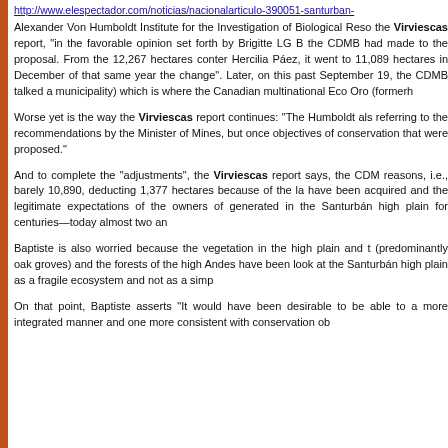http://www.elespectador.com/noticias/nacionalarticulo-390051-santurban-
Alexander Von Humboldt Institute for the Investigation of Biological Reso the Virviescas report, “in the favorable opinion set forth by Brigitte LG B the CDMB had made to the proposal. From the 12,267 hectares conter Hercilia Páez, it went to 11,089 hectares in December of that same year the change”. Later, on this past September 19, the CDMB talked a municipality) which is where the Canadian multinational Eco Oro (formerh
Worse yet is the way the Virviescas report continues: “The Humboldt als referring to the recommendations by the Minister of Mines, but once objectives of conservation that were proposed.”
And to complete the “adjustments”, the Virviescas report says, the CDM reasons, i.e., barely 10,890, deducting 1,377 hectares because of the la have been acquired and the legitimate expectations of the owners of generated in the Santurbán high plain for centuries—today almost two an
Baptiste is also worried because the vegetation in the high plain and t (predominantly oak groves) and the forests of the high Andes have been look at the Santurbán high plain as a fragile ecosystem and not as a simp
On that point, Baptiste asserts “It would have been desirable to be able to a more integrated manner and one more consistent with conservation ob